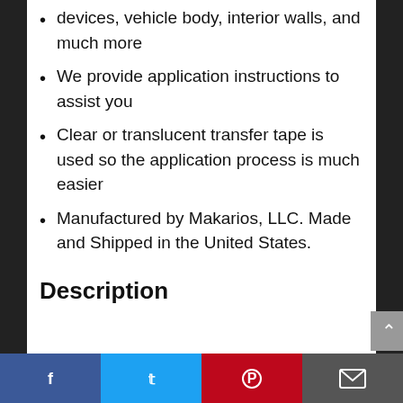devices, vehicle body, interior walls, and much more
We provide application instructions to assist you
Clear or translucent transfer tape is used so the application process is much easier
Manufactured by Makarios, LLC. Made and Shipped in the United States.
Description